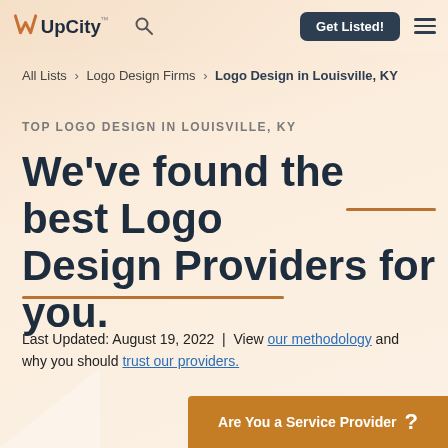UpCity — Get Listed!
All Lists > Logo Design Firms > Logo Design in Louisville, KY
TOP LOGO DESIGN IN LOUISVILLE, KY
We've found the best Logo Design Providers for you.
Last Updated: August 19, 2022  |  View our methodology and why you should trust our providers.
Are You a Service Provider ?